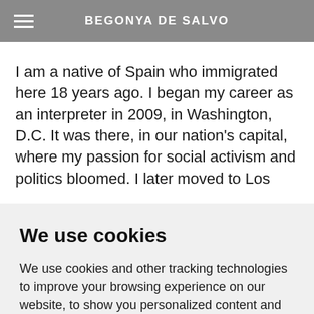BEGONYA DE SALVO
I am a native of Spain who immigrated here 18 years ago. I began my career as an interpreter in 2009, in Washington, D.C. It was there, in our nation's capital, where my passion for social activism and politics bloomed. I later moved to Los
We use cookies
We use cookies and other tracking technologies to improve your browsing experience on our website, to show you personalized content and targeted ads, to analyze our website traffic, and